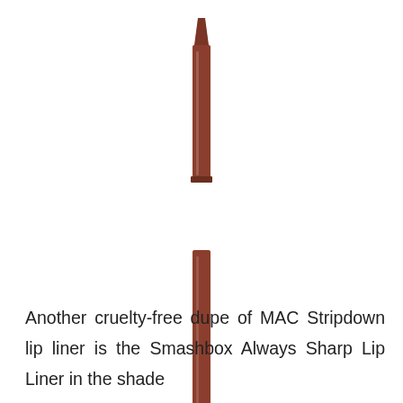[Figure (photo): A Smashbox Always Sharp Lip Liner pencil shown in two parts: the cap on top and the pencil body below, both in a reddish-brown/mauve color. The pencil body has text along its side reading 'Smashbox Always Sharp Lip Liner'.]
Another cruelty-free dupe of MAC Stripdown lip liner is the Smashbox Always Sharp Lip Liner in the shade